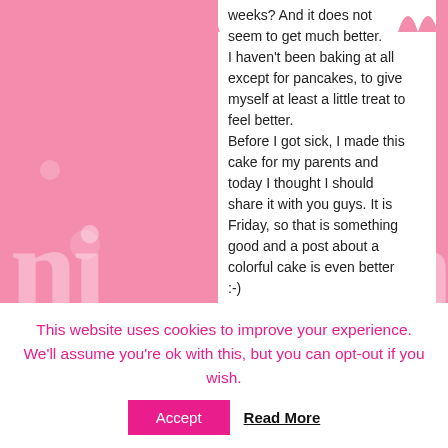weeks? And it does not seem to get much better. I haven't been baking at all except for pancakes, to give myself at least a little treat to feel better. Before I got sick, I made this cake for my parents and today I thought I should share it with you guys. It is Friday, so that is something good and a post about a colorful cake is even better :-)
[Figure (photo): A slice of layered colorful cake with green, red, and orange layers separated by white cream frosting, with sprinkles on top. The OrganiC logo appears in the top right of the image.]
This website uses cookies to improve your experience. We'll assume you're ok with this, but you can opt-out if you wish. Accept Read More